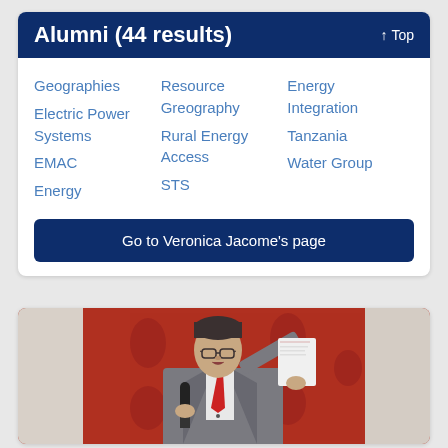Alumni (44 results)
Geographies
Electric Power Systems
EMAC
Energy
Resource Greography
Rural Energy Access
STS
Energy Integration
Tanzania
Water Group
Go to Veronica Jacome’s page
[Figure (photo): A man in a grey suit and red tie speaking at a microphone, holding papers, against a red patterned backdrop]